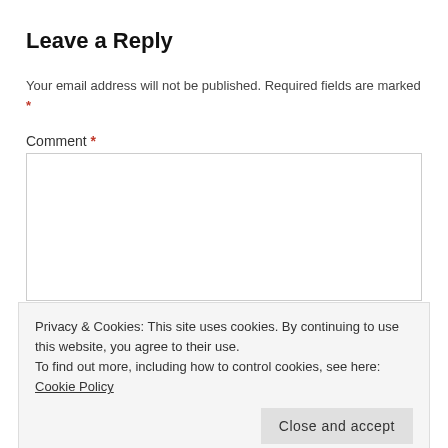Leave a Reply
Your email address will not be published. Required fields are marked *
Comment *
[Figure (other): Empty comment text area input box with thin gray border]
Privacy & Cookies: This site uses cookies. By continuing to use this website, you agree to their use. To find out more, including how to control cookies, see here: Cookie Policy
Close and accept
Email *